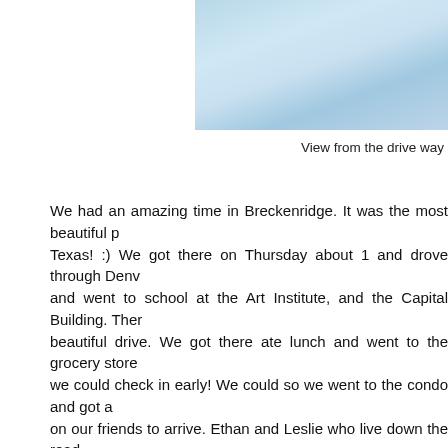[Figure (photo): A light blue/white landscape photo showing a snowy or misty mountain view from a driveway, partially cropped on the right side.]
View from the drive way
We had an amazing time in Breckenridge. It was the most beautiful p... Texas! :) We got there on Thursday about 1 and drove through Denv... and went to school at the Art Institute, and the Capital Building. Ther... beautiful drive. We got there ate lunch and went to the grocery store... we could check in early! We could so we went to the condo and got a... on our friends to arrive. Ethan and Leslie who live down the road... Brooke and her husband Andy and then a couple friend of Ethan an... Alex. Dax's brother also came for a few days. We had an amazing ti... got up and hit the mountain. WoW it was an crazy packed morning... Yes 2 HOURS! I was hurting so bad and was so numb it couldn't eve... run while I waited at the base for them. Then we rode back up the li... our friends for lunch. It took forever, but not as long as the run befo... and I think we got there at 2! But we had a long way to go and i... snowboard. I was hurting so bad my knees were killing me, I went t... when I looked down and my knees and all I saw was bruises and th... bus to take us back to the condo and Dax was going to go and b... Saturday we got up again, and made a second day of it. It went muc... same run that took me 2 hours the day before. Kristin was with me... beginner too! We just knew how the other one was feeling so it mad... and then came back down and Kristin and I took a bus back to the c... both hurting but feeling so good about what we had done. We coul...